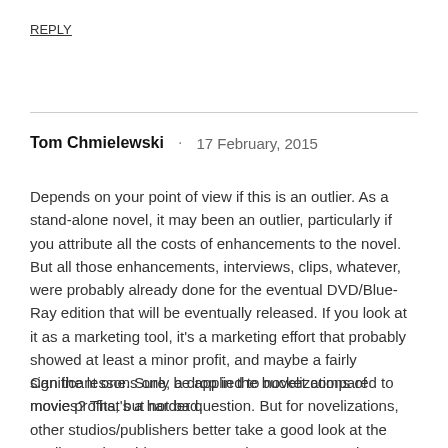REPLY
Tom Chmielewski · 17 February, 2015
Depends on your point of view if this is an outlier. As a stand-alone novel, it may been an outlier, particularly if you attribute all the costs of enhancements to the novel. But all those enhancements, interviews, clips, whatever, were probably already done for the eventual DVD/Blue-Ray edition that will be eventually released. If you look at it as a marketing tool, it's a marketing effort that probably showed at least a minor profit, and maybe a fairly significant one. Sure, a drop in the bucket compared to movie profits, but not bad.
Can the lessons only be applied to novelizations of movies? That's a harder question. But for novelizations, other studios/publishers better take a good look at the quality put into this one. Most enhancements put into ebooks by marketing people have been